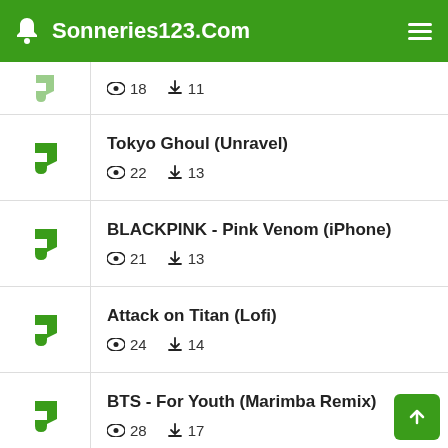Sonneries123.Com
18 views  11 downloads
Tokyo Ghoul (Unravel)  22 views  13 downloads
BLACKPINK - Pink Venom (iPhone)  21 views  13 downloads
Attack on Titan (Lofi)  24 views  14 downloads
BTS - For Youth (Marimba Remix)  28 views  17 downloads
Sailor Moon Crystal